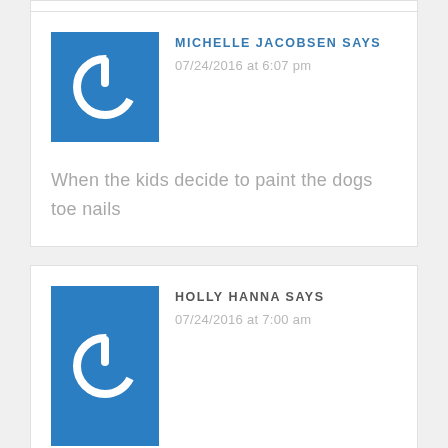[Figure (screenshot): Blue square avatar with white power button icon]
MICHELLE JACOBSEN SAYS
07/24/2016 at 6:07 pm
When the kids decide to paint the dogs toe nails
[Figure (screenshot): Blue square avatar with white power button icon]
HOLLY HANNA SAYS
07/24/2016 at 7:00 am